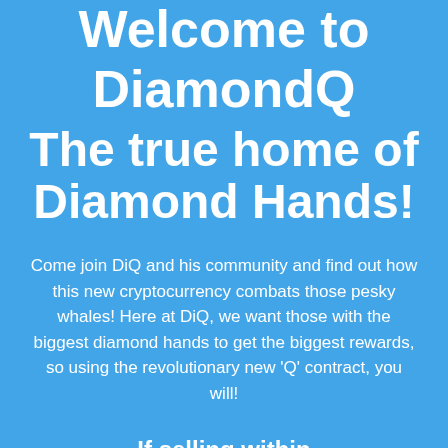Welcome to DiamondQ The true home of Diamond Hands!
Come join DiQ and his community and find out how this new cryptocurrency combats those pesky whales! Here at DiQ, we want those with the biggest diamond hands to get the biggest rewards, so using the revolutionary new 'Q' contract, you will!
If selling within 7 days